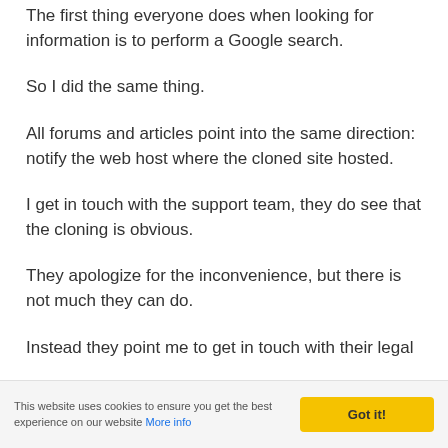The first thing everyone does when looking for information is to perform a Google search.
So I did the same thing.
All forums and articles point into the same direction: notify the web host where the cloned site hosted.
I get in touch with the support team, they do see that the cloning is obvious.
They apologize for the inconvenience, but there is not much they can do.
Instead they point me to get in touch with their legal
This website uses cookies to ensure you get the best experience on our website More info